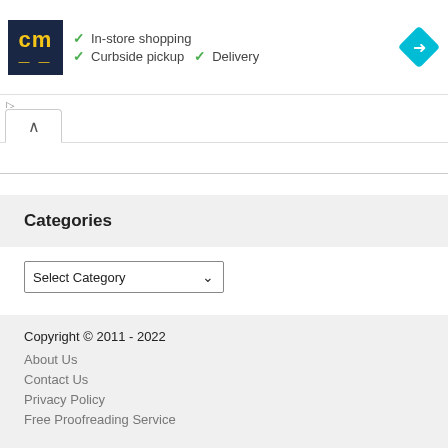[Figure (screenshot): Advertisement banner for a store showing CM logo, checkmarks for In-store shopping, Curbside pickup, Delivery, and a blue navigation diamond icon]
In-store shopping
Curbside pickup
Delivery
Categories
Select Category
Copyright © 2011 - 2022
About Us
Contact Us
Privacy Policy
Free Proofreading Service